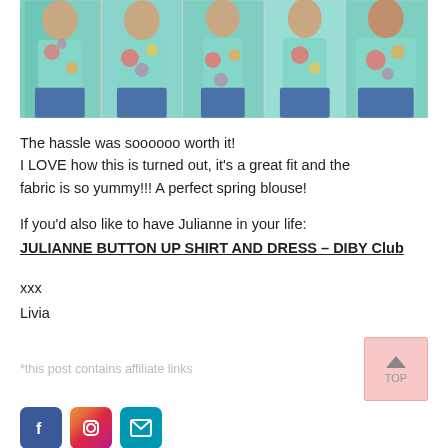[Figure (photo): Five photos arranged in a horizontal strip showing a woman wearing a floral mint/teal blouse with red, orange, and purple flowers, paired with blue jeans. Photos show front, side, and back views.]
The hassle was soooooo worth it!
I LOVE how this is turned out, it's a great fit and the fabric is so yummy!!! A perfect spring blouse!
If you'd also like to have Julianne in your life:
JULIANNE BUTTON UP SHIRT AND DRESS – DIBY Club
xxx
Livia
*this post contains affiliate links
[Figure (other): Social media icons: Facebook, Instagram, Email]